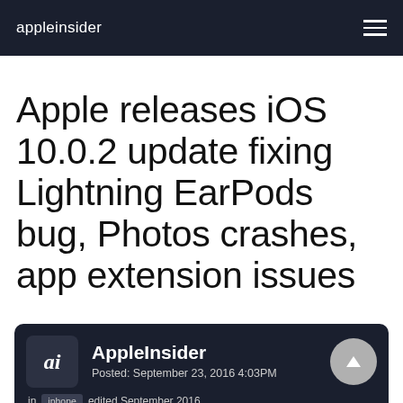appleinsider
Apple releases iOS 10.0.2 update fixing Lightning EarPods bug, Photos crashes, app extension issues
AppleInsider
Posted: September 23, 2016 4:03PM
in iphone  edited September 2016